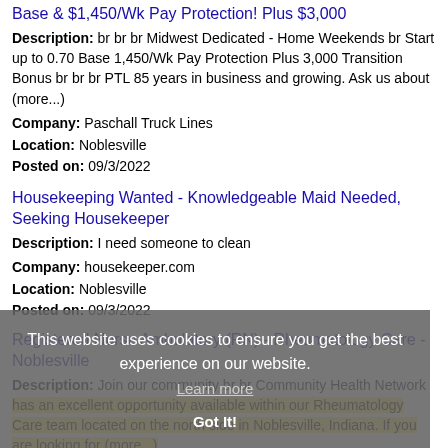Base & $1,450/Wk Pay Protection! Plus $3,000
Description: br br br Midwest Dedicated - Home Weekends br Start up to 0.70 Base 1,450/Wk Pay Protection Plus 3,000 Transition Bonus br br br PTL 85 years in business and growing. Ask us about (more...)
Company: Paschall Truck Lines
Location: Noblesville
Posted on: 09/3/2022
Housekeeping Wanted - Knowledgeable Maid Needed, Seeking Housekeeper
Description: I need someone to clean
Company: housekeeper.com
Location: Noblesville
Posted on: 09/3/2022
Registered Nurse Ambulatory (RN) - Rheumatology Care - Noblesville
Description: Join our community br br Community Health Network has an excellent opportunity available within our Rheumatology Care team located on the north side in Noblesville, Indiana. If you are looking for (more...)
Company: Community Health Network
Location: Noblesville
This website uses cookies to ensure you get the best experience on our website. Learn more Got It!